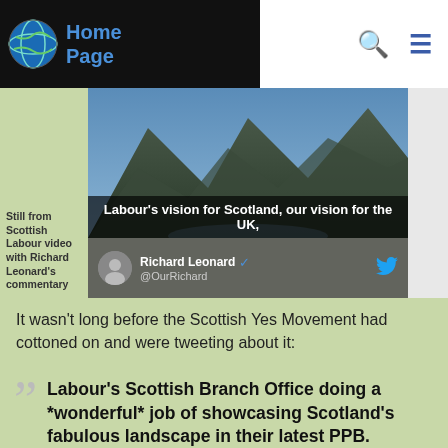Home Page
[Figure (screenshot): Still from Scottish Labour video with Richard Leonard's commentary showing text 'Labour's vision for Scotland, our vision for the UK,' overlaid on mountain landscape, with Richard Leonard Twitter profile below]
Still from Scottish Labour video with Richard Leonard's commentary
It wasn't long before the Scottish Yes Movement had cottoned on and were tweeting about it:
Labour's Scottish Branch Office doing a *wonderful* job of showcasing Scotland's fabulous landscape in their latest PPB.

Oh, wait...that's actually Snowdonia.

In Wales. pic.twitter.com/Tq1GoTrwTB